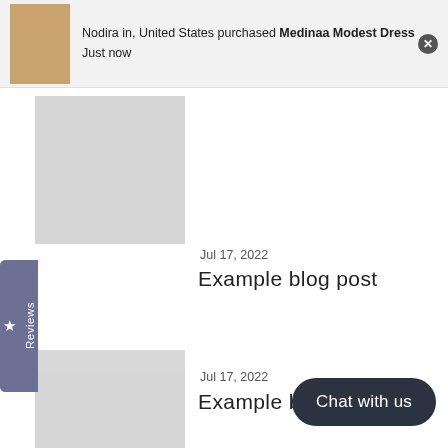Nodira in, United States purchased Medinaa Modest Dress Just now
[Figure (screenshot): Blog post card with placeholder image, dated Jul 17, 2022, titled Example blog post]
Jul 17, 2022
Example blog post
[Figure (screenshot): Second blog post card with placeholder image, dated Jul 17, 2022, titled Example blog post]
Jul 17, 2022
Example blog p
Chat with us